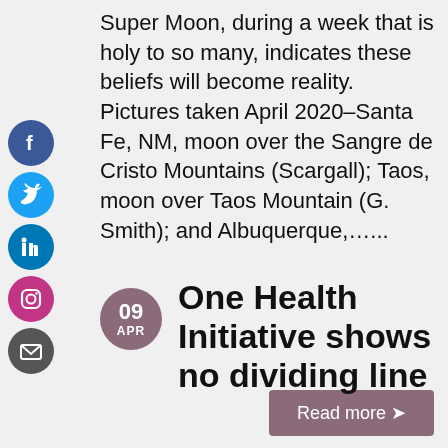Super Moon, during a week that is holy to so many, indicates these beliefs will become reality. Pictures taken April 2020–Santa Fe, NM, moon over the Sangre de Cristo Mountains (Scargall); Taos, moon over Taos Mountain (G. Smith); and Albuquerque,…..
[Figure (other): Read more button — mauve/dusty rose rounded rectangle with white text 'Read more >' ]
[Figure (other): Social media icons column: Facebook (blue circle), Twitter (light blue circle), LinkedIn (dark blue circle), Instagram (pink/purple circle), Email (grey circle)]
[Figure (other): Date badge: circular mauve badge with '09' and 'APR']
One Health Initiative shows no dividing line